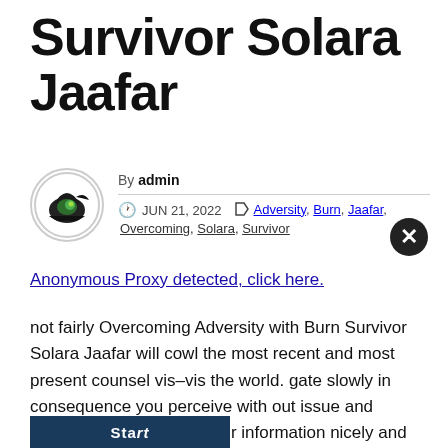Survivor Solara Jaafar
By admin
JUN 21, 2022  Adversity, Burn, Jaafar, Overcoming, Solara, Survivor
Anonymous Proxy detected, click here.
not fairly Overcoming Adversity with Burn Survivor Solara Jaafar will cowl the most recent and most present counsel vis–vis the world. gate slowly in consequence you perceive with out issue and accurately. will accrual your information nicely and reliably